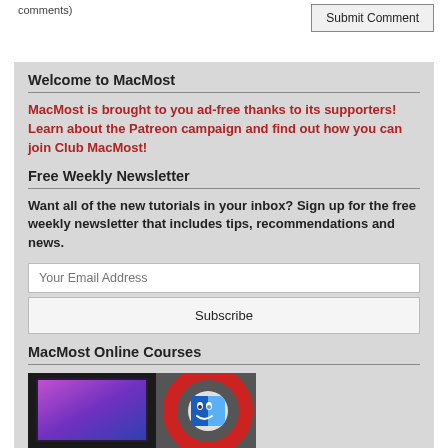comments)
Submit Comment
Welcome to MacMost
MacMost is brought to you ad-free thanks to its supporters! Learn about the Patreon campaign and find out how you can join Club MacMost!
Free Weekly Newsletter
Want all of the new tutorials in your inbox? Sign up for the free weekly newsletter that includes tips, recommendations and news.
Your Email Address
Subscribe
MacMost Online Courses
[Figure (photo): MacMost Online Courses promotional image showing a Mac laptop with purple wallpaper and a Finder icon]